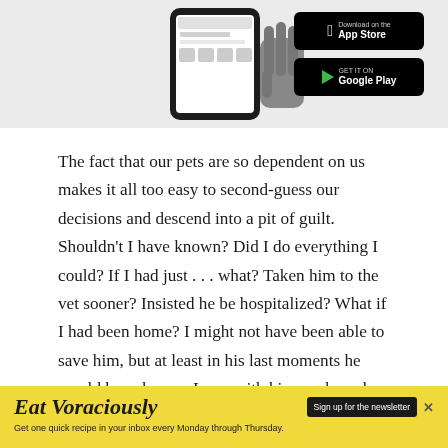[Figure (photo): Top banner showing a hand holding a smartphone with app interface visible, alongside App Store and Google Play download buttons on a light gray background.]
The fact that our pets are so dependent on us makes it all too easy to second-guess our decisions and descend into a pit of guilt. Shouldn’t I have known? Did I do everything I could? If I had just . . . what? Taken him to the vet sooner? Insisted he be hospitalized? What if I had been home? I might not have been able to save him, but at least in his last moments he would have known I was with him, and maybe that would have made it a little easier for him if not for me.
In “The Year of Magical Thinking,” Joan Didion refers to
[Figure (other): Yellow advertisement banner for 'Eat Voraciously' newsletter with sign-up button and tagline 'Get one quick recipe in your inbox every Monday through Thursday.']